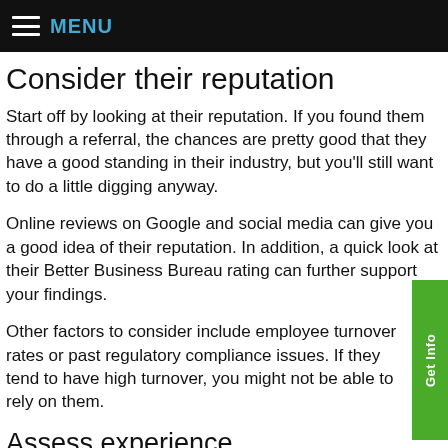MENU
Consider their reputation
Start off by looking at their reputation. If you found them through a referral, the chances are pretty good that they have a good standing in their industry, but you’ll still want to do a little digging anyway.
Online reviews on Google and social media can give you a good idea of their reputation. In addition, a quick look at their Better Business Bureau rating can further support your findings.
Other factors to consider include employee turnover rates or past regulatory compliance issues. If they tend to have high turnover, you might not be able to rely on them.
Assess experience